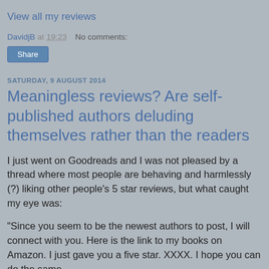View all my reviews
DavidjB at 19:23   No comments:
Share
SATURDAY, 9 AUGUST 2014
Meaningless reviews? Are self-published authors deluding themselves rather than the readers
I just went on Goodreads and I was not pleased by a thread where most people are behaving and harmlessly (?) liking other people's 5 star reviews, but what caught my eye was:
"Since you seem to be the newest authors to post, I will connect with you. Here is the link to my books on Amazon. I just gave you a five star. XXXX. I hope you can do the same.